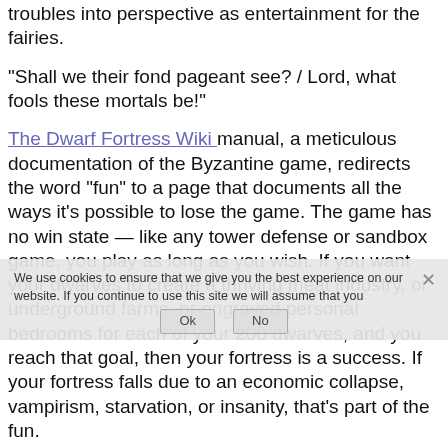troubles into perspective as entertainment for the fairies.
“Shall we their fond pageant see? / Lord, what fools these mortals be!”
The Dwarf Fortress Wiki manual, a meticulous documentation of the Byzantine game, redirects the word “fun” to a page that documents all the ways it’s possible to lose the game. The game has no win state — like any tower defense or sandbox game, you play as long as you wish. If you want your dwarves to create a thriving meat industry, or underground farms, or engraved personal bedrooms for each of your 200 dwarves, and you reach that goal, then your fortress is a success. If your fortress falls due to an economic collapse, vampirism, starvation, or insanity, that’s part of the fun.
“There is no internal end point, single goal, final Easter egg or “You Win!” announcement in Dwarf Fortress. Therefore, eventually, almost every fortress will fall. The only ones